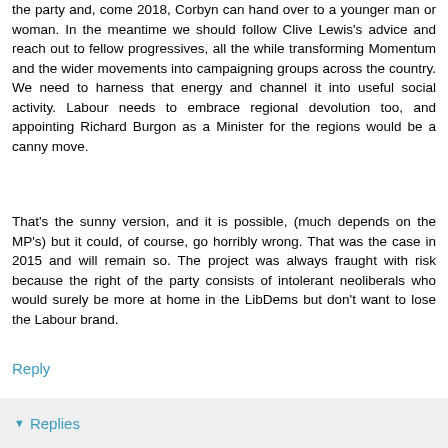the party and, come 2018, Corbyn can hand over to a younger man or woman. In the meantime we should follow Clive Lewis's advice and reach out to fellow progressives, all the while transforming Momentum and the wider movements into campaigning groups across the country. We need to harness that energy and channel it into useful social activity. Labour needs to embrace regional devolution too, and appointing Richard Burgon as a Minister for the regions would be a canny move.
That's the sunny version, and it is possible, (much depends on the MP's) but it could, of course, go horribly wrong. That was the case in 2015 and will remain so. The project was always fraught with risk because the right of the party consists of intolerant neoliberals who would surely be more at home in the LibDems but don't want to lose the Labour brand.
Reply
Replies